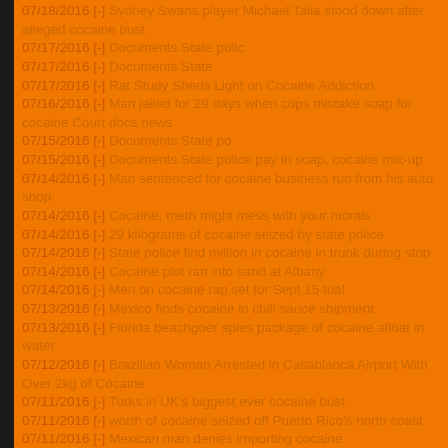07/18/2016 [-] Sydney Swans player Michael Talia stood down after alleged cocaine bust
07/17/2016 [-] Documents State polic
07/17/2016 [-] Documents State
07/17/2016 [-] Rat Study Sheds Light on Cocaine Addiction
07/16/2016 [-] Man jailed for 29 days when cops mistake soap for cocaine Court docs news
07/15/2016 [-] Documents State po
07/15/2016 [-] Documents State police pay in soap, cocaine mix-up
07/14/2016 [-] Man sentenced for cocaine business run from his auto shop
07/14/2016 [-] Cocaine, meth might mess with your morals
07/14/2016 [-] 29 kilograms of cocaine seized by state police
07/14/2016 [-] State police find million in cocaine in trunk during stop
07/14/2016 [-] Cocaine plot ran into sand at Albany
07/14/2016 [-] Men on cocaine rap set for Sept 15 trial
07/13/2016 [-] Mexico finds cocaine in chili sauce shipment
07/13/2016 [-] Florida beachgoer spies package of cocaine afloat in water
07/12/2016 [-] Brazilian Woman Arrested in Casablanca Airport With Over 2kg of Cocaine
07/11/2016 [-] Turks in UK's biggest ever cocaine bust
07/11/2016 [-] worth of cocaine seized off Puerto Rico's north coast
07/11/2016 [-] Mexican man denies importing cocaine
07/10/2016 [-] Not guilty plea following New Zealand's biggest cocaine bust
07/10/2016 [-] Troup Co. deputies seize around in cocaine drugs during traffic stop
07/08/2016 [-] Colombia cocaine production soars UN